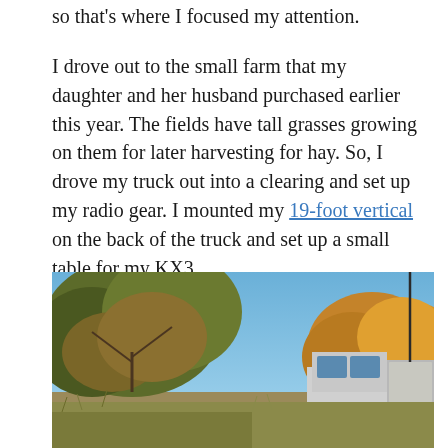so that's where I focused my attention.
I drove out to the small farm that my daughter and her husband purchased earlier this year. The fields have tall grasses growing on them for later harvesting for hay. So, I drove my truck out into a clearing and set up my radio gear. I mounted my 19-foot vertical on the back of the truck and set up a small table for my KX3.
[Figure (photo): Outdoor photo showing a truck parked in a field with a tall vertical antenna mounted on its back. Autumn trees with yellow and orange foliage are visible in the background against a blue sky.]